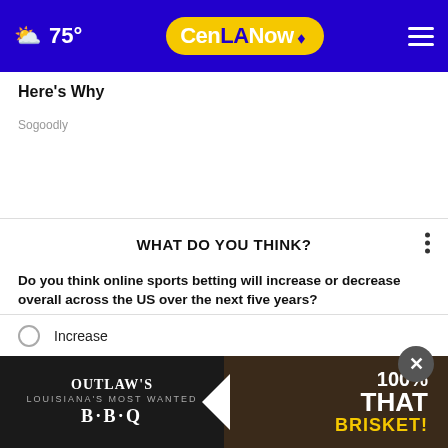CenLANow — 75°
Here's Why
Sogoodly
WHAT DO YOU THINK?
Do you think online sports betting will increase or decrease overall across the US over the next five years?
Increase
Decrease
Stay about the same
Other / No opinion
[Figure (photo): Outlaw's BBQ advertisement banner with brisket food photo]